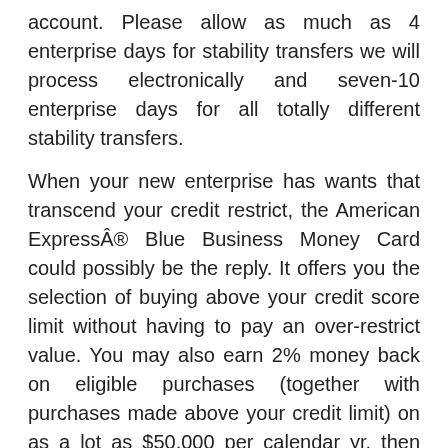account. Please allow as much as 4 enterprise days for stability transfers we will process electronically and seven-10 enterprise days for all totally different stability transfers.

When your new enterprise has wants that transcend your credit restrict, the American Express® Blue Business Money Card could possibly be the reply. It offers you the selection of buying above your credit score limit without having to pay an over-restrict value. You may also earn 2% money back on eligible purchases (together with purchases made above your credit limit) on as a lot as $50,000 per calendar yr, then 1%. This card might current your startup with a a lot-wanted credit score increase. Delivery companies: Businesses that conduct deliveries are